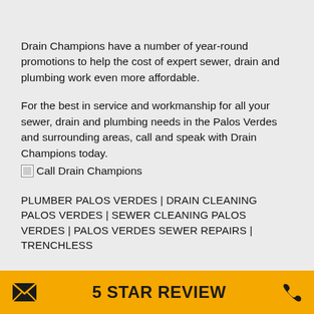Drain Champions have a number of year-round promotions to help the cost of expert sewer, drain and plumbing work even more affordable.
For the best in service and workmanship for all your sewer, drain and plumbing needs in the Palos Verdes and surrounding areas, call and speak with Drain Champions today.
[Figure (other): Broken image placeholder with alt text: Call Drain Champions]
PLUMBER PALOS VERDES | DRAIN CLEANING PALOS VERDES | SEWER CLEANING PALOS VERDES | PALOS VERDES SEWER REPAIRS | TRENCHLESS
5 STAR REVIEW